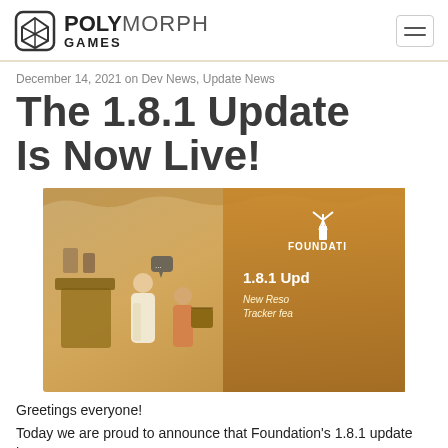POLYMORPH GAMES
December 14, 2021 on Dev News, Update News
The 1.8.1 Update Is Now Live!
[Figure (screenshot): Game thumbnail for Foundation 1.8.1 update showing medieval characters and the text '1.8.1 Update - New Resource Tracker features' on a parchment-style background]
Greetings everyone!
Today we are proud to announce that Foundation's 1.8.1 update has